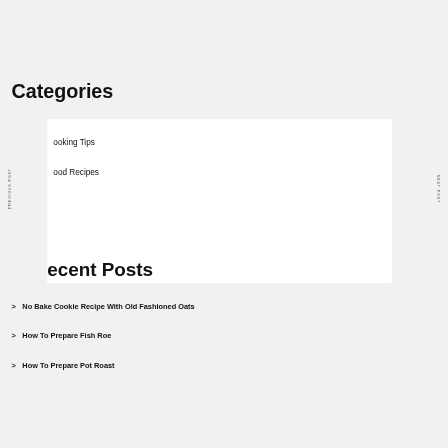Categories
Cooking Tips
Good Recipes
Recent Posts
No Bake Cookie Recipe With Old Fashioned Oats
How To Prepare Fish Roe
How To Prepare Pot Roast